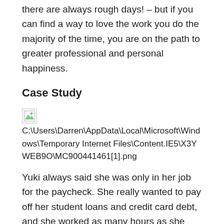there are always rough days! – but if you can find a way to love the work you do the majority of the time, you are on the path to greater professional and personal happiness.
Case Study
[Figure (other): Broken image placeholder with file path: C:\Users\Darren\AppData\Local\Microsoft\Windows\Temporary Internet Files\Content.IE5\X3YWEB9O\MC900441461[1].png]
Yuki always said she was only in her job for the paycheck. She really wanted to pay off her student loans and credit card debt, and she worked as many hours as she could to earn the money she needed. She was good at her job and completed her tasks accurately and on time, but seemed to derive little pleasure from it. She worked hard all week and counted the